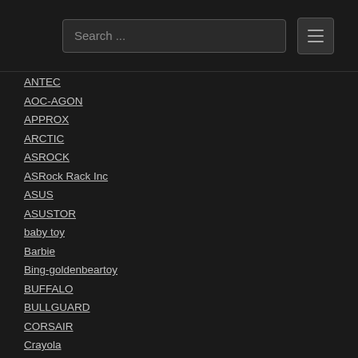Search ...
ANTEC
AOC-AGON
APPROX
ARCTIC
ASROCK
ASRock Rack Inc
ASUS
ASUSTOR
baby toy
Barbie
Bing-goldenbeartoy
BUFFALO
BULLGUARD
CORSAIR
Crayola
cyberpower
Dc Comics Toys McFarlane Toys Mattel DC Multiverse
DEEPCOOL
Despicable Me / Minions
Disney Cars